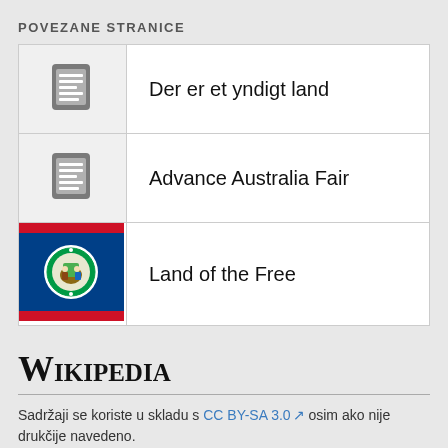POVEZANE STRANICE
Der er et yndigt land
Advance Australia Fair
Land of the Free
[Figure (logo): Wikipedia wordmark in serif small-caps font]
Sadržaji se koriste u skladu s CC BY-SA 3.0 osim ako nije drukčije navedeno.
Uvjeti uporabe • Zaštita privatnosti • Klasični prikaz